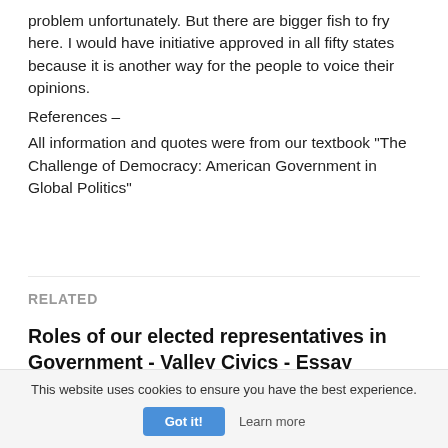problem unfortunately. But there are bigger fish to fry here. I would have initiative approved in all fifty states because it is another way for the people to voice their opinions.
References –
All information and quotes were from our textbook “The Challenge of Democracy: American Government in Global Politics”
RELATED
Roles of our elected representatives in Government - Valley Civics - Essay
462 words · 2 pages
This website uses cookies to ensure you have the best experience.
Got it!
Learn more